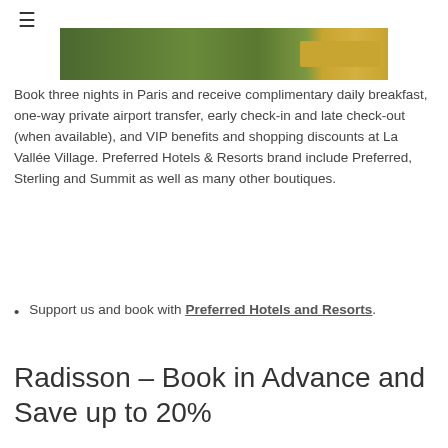[Figure (photo): Aerial or landscape photo of Paris with a golden button overlay on the right side]
Book three nights in Paris and receive complimentary daily breakfast, one-way private airport transfer, early check-in and late check-out (when available), and VIP benefits and shopping discounts at La Vallée Village. Preferred Hotels & Resorts brand include Preferred, Sterling and Summit as well as many other boutiques.
Support us and book with Preferred Hotels and Resorts.
Radisson – Book in Advance and Save up to 20%